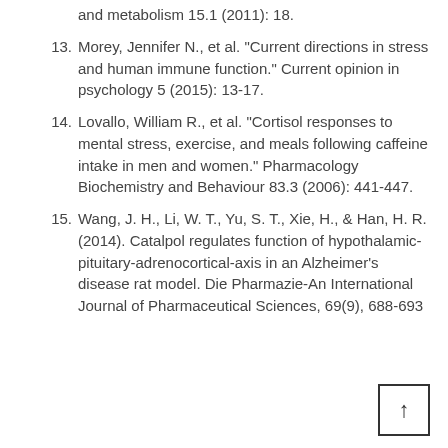and metabolism 15.1 (2011): 18.
13. Morey, Jennifer N., et al. "Current directions in stress and human immune function." Current opinion in psychology 5 (2015): 13-17.
14. Lovallo, William R., et al. "Cortisol responses to mental stress, exercise, and meals following caffeine intake in men and women." Pharmacology Biochemistry and Behaviour 83.3 (2006): 441-447.
15. Wang, J. H., Li, W. T., Yu, S. T., Xie, H., & Han, H. R. (2014). Catalpol regulates function of hypothalamic-pituitary-adrenocortical-axis in an Alzheimer's disease rat model. Die Pharmazie-An International Journal of Pharmaceutical Sciences, 69(9), 688-693